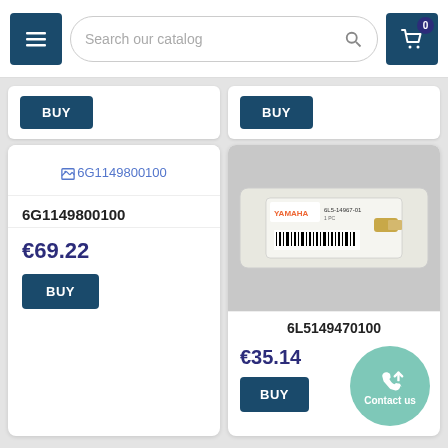[Figure (screenshot): Navigation header with hamburger menu, search bar reading 'Search our catalog', and shopping cart icon with badge showing 0]
[Figure (screenshot): Partially visible product card with a BUY button (left column)]
[Figure (screenshot): Partially visible product card with a BUY button (right column)]
[Figure (screenshot): Product image placeholder showing broken image icon for part 6G1149800100]
6G1149800100
€69.22
BUY
[Figure (photo): Yamaha part in plastic packaging with barcode label, small metal component]
6L5149470100
€35.14
BUY
Contact us